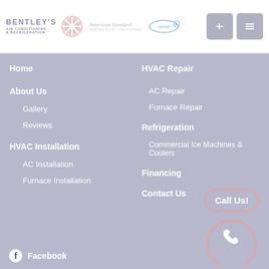Bentley's Air Conditioning & Refrigeration — American Standard — [carrier logo]
Home
About Us
Gallery
Reviews
HVAC Installation
AC Installation
Furnace Installation
HVAC Repair
AC Repair
Furnace Repair
Refrigeration
Commercial Ice Machines & Coolers
Financing
Contact Us
[Figure (illustration): Call Us! button with phone icon circle]
Facebook